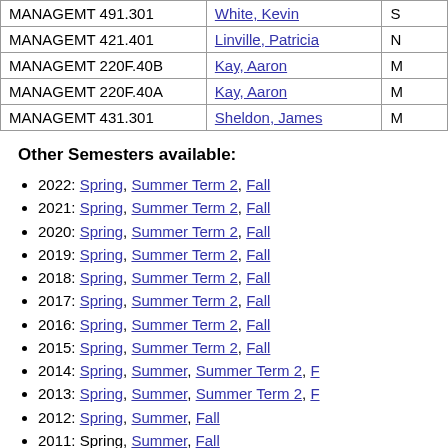| Course | Instructor |  |
| --- | --- | --- |
| MANAGEMT 491.301 | White, Kevin | S |
| MANAGEMT 421.401 | Linville, Patricia | N |
| MANAGEMT 220F.40B | Kay, Aaron | M |
| MANAGEMT 220F.40A | Kay, Aaron | M |
| MANAGEMT 431.301 | Sheldon, James | M |
Other Semesters available:
2022: Spring, Summer Term 2, Fall
2021: Spring, Summer Term 2, Fall
2020: Spring, Summer Term 2, Fall
2019: Spring, Summer Term 2, Fall
2018: Spring, Summer Term 2, Fall
2017: Spring, Summer Term 2, Fall
2016: Spring, Summer Term 2, Fall
2015: Spring, Summer Term 2, Fall
2014: Spring, Summer, Summer Term 2, F
2013: Spring, Summer, Summer Term 2, F
2012: Spring, Summer, Fall
2011: Spring, Summer, Fall
2010: Spring, Summer, Fall
2009: Spring, Summer, Fall
2008: Spring, Summer, Fall
2007: Spring, Summer, Fall